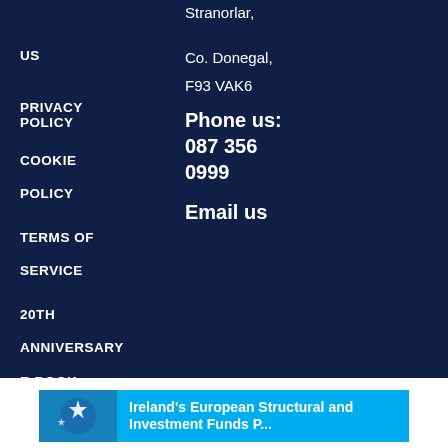Stranorlar,
US
Co. Donegal,
PRIVACY POLICY
F93 VAK6
Phone us: 087 356 0999
COOKIE POLICY
Email us
TERMS OF SERVICE
20TH ANNIVERSARY E-BOOK
[Figure (logo): Ireland's European Structural and Investment Funds Programme logo banner with blue and cyan background]